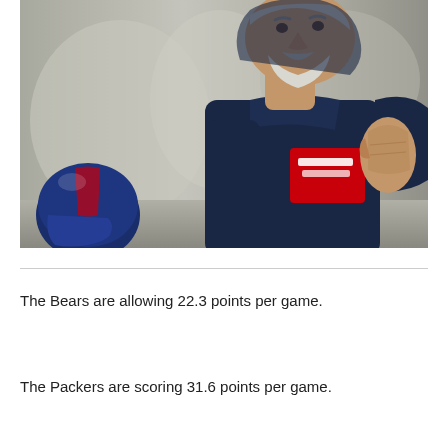[Figure (photo): A man wearing a dark navy blue hoodie with a red patch/logo, pressing his hands together in front of him. A football helmet is partially visible in the lower left. Background is blurred outdoor setting.]
The Bears are allowing 22.3 points per game.
The Packers are scoring 31.6 points per game.